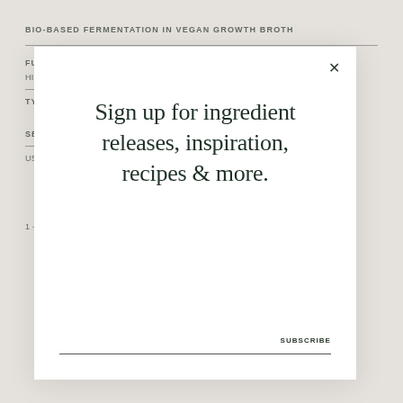BIO-BASED FERMENTATION IN VEGAN GROWTH BROTH
FUNCTION
HI
TY
SE
US
1 –
[Figure (screenshot): Modal popup overlay with close button (×), large serif text reading 'Sign up for ingredient releases, inspiration, recipes & more.', a SUBSCRIBE button, and a horizontal input line at the bottom.]